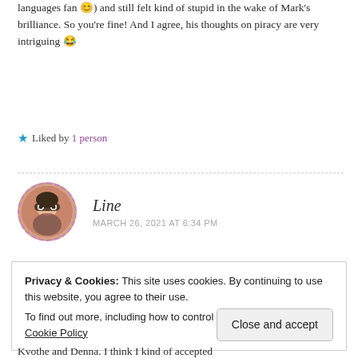languages fan 😊) and still felt kind of stupid in the wake of Mark's brilliance. So you're fine! And I agree, his thoughts on piracy are very intriguing 😂
★ Liked by 1 person
[Figure (photo): Round avatar photo of a smiling person with glasses, bordered by a dashed pink/purple circle]
Line
MARCH 26, 2021 AT 6:34 PM
Privacy & Cookies: This site uses cookies. By continuing to use this website, you agree to their use.
To find out more, including how to control cookies, see here: Cookie Policy
Kvothe and Denna. I think I kind of accepted